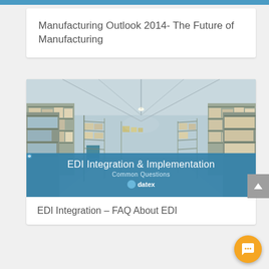Manufacturing Outlook 2014- The Future of Manufacturing
[Figure (photo): Warehouse interior with tall shelving units filled with boxes and products, with overlay banner reading 'EDI Integration & Implementation Common Questions' with Datex logo]
EDI Integration – FAQ About EDI